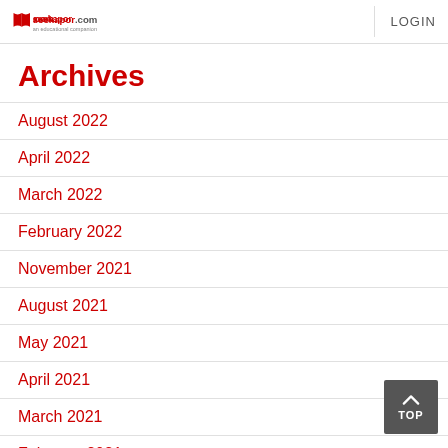seekapor.com an educational companion | LOGIN
Archives
August 2022
April 2022
March 2022
February 2022
November 2021
August 2021
May 2021
April 2021
March 2021
February 2021